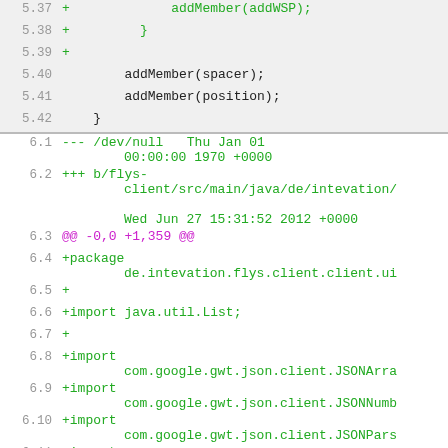5.37 +             addMember(addWSP);
5.38 +         }
5.39 +
5.40         addMember(spacer);
5.41         addMember(position);
5.42     }
6.1  --- /dev/null   Thu Jan 01 00:00:00 1970 +0000
6.2  +++ b/flys-client/src/main/java/de/intevation/ Wed Jun 27 15:31:52 2012 +0000
6.3  @@ -0,0 +1,359 @@
6.4  +package de.intevation.flys.client.client.ui
6.5  +
6.6  +import java.util.List;
6.7  +
6.8  +import com.google.gwt.json.client.JSONArra
6.9  +import com.google.gwt.json.client.JSONNumb
6.10 +import com.google.gwt.json.client.JSONPars
6.11 +import com.google.gwt.json.client.JSONStri
6.12 +import com.google.gwt.core.client.GWT;
6.13 +import com.google.gwt.user.client.rpc.Asyn